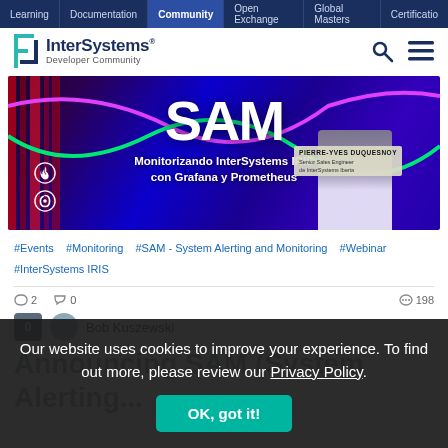Learning | Documentation | Community | Open Exchange | Global Masters | Certification
[Figure (logo): InterSystems Developer Community logo with teal bracket icon]
[Figure (photo): SAM banner image: colorful abstract background with 'SAM' large text, subtitle 'Monitorizando InterSystems IRIS con Grafana y Prometheus', person photo with name tag PIERRE-YVES DUQUESNOY, Senior Sales Engineer de InterSystems Iberia]
#Events  #Monitoring  #SAM - System Alerting and Monitoring  #Webinar
#InterSystems IRIS
2  0  198
Bob Kuszewski
Our website uses cookies to improve your experience. To find out more, please review our Privacy Policy.
Announcing SAM (System Alerting...